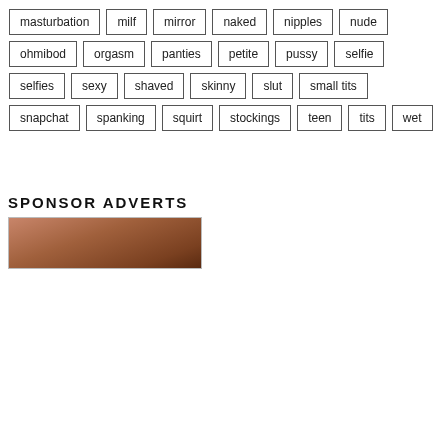masturbation
milf
mirror
naked
nipples
nude
ohmibod
orgasm
panties
petite
pussy
selfie
selfies
sexy
shaved
skinny
slut
small tits
snapchat
spanking
squirt
stockings
teen
tits
wet
SPONSOR ADVERTS
[Figure (photo): Sponsor advertisement image showing a person's face, partially cropped]